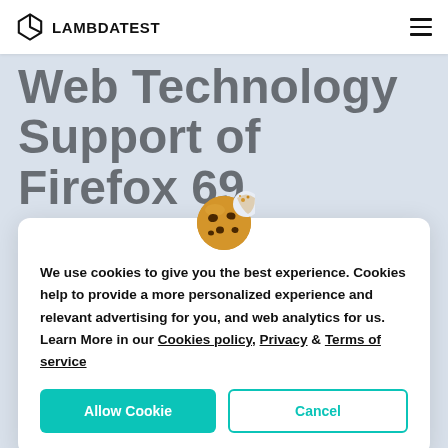LAMBDATEST
Web Technology Support of Firefox 69
To create a automation testing strategy for checking your webap… Firefox 69, you first
[Figure (illustration): Cookie emoji icon centered above the cookie consent modal]
We use cookies to give you the best experience. Cookies help to provide a more personalized experience and relevant advertising for you, and web analytics for us. Learn More in our Cookies policy, Privacy & Terms of service
Allow Cookie | Cancel